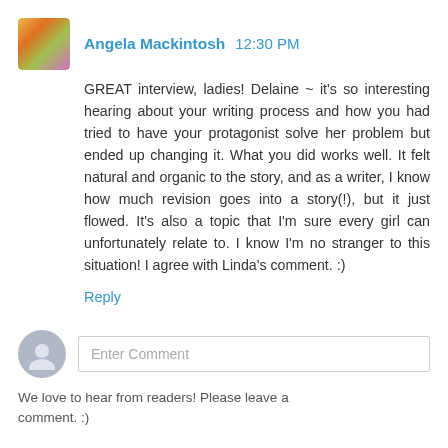Angela Mackintosh  12:30 PM
GREAT interview, ladies! Delaine ~ it's so interesting hearing about your writing process and how you had tried to have your protagonist solve her problem but ended up changing it. What you did works well. It felt natural and organic to the story, and as a writer, I know how much revision goes into a story(!), but it just flowed. It's also a topic that I'm sure every girl can unfortunately relate to. I know I'm no stranger to this situation! I agree with Linda's comment. :)
Reply
Enter Comment
We love to hear from readers! Please leave a comment. :)